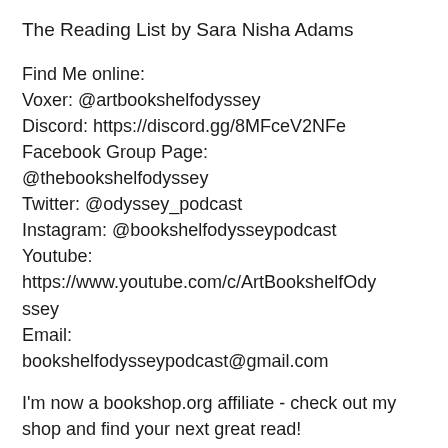The Reading List by Sara Nisha Adams
Find Me online:
Voxer: @artbookshelfodyssey
Discord: https://discord.gg/8MFceV2NFe
Facebook Group Page:
@thebookshelfodyssey
Twitter: @odyssey_podcast
Instagram: @bookshelfodysseypodcast
Youtube:
https://www.youtube.com/c/ArtBookshelfOdyssey
Email:
bookshelfodysseypodcast@gmail.com
I'm now a bookshop.org affiliate - check out my shop and find your next great read!